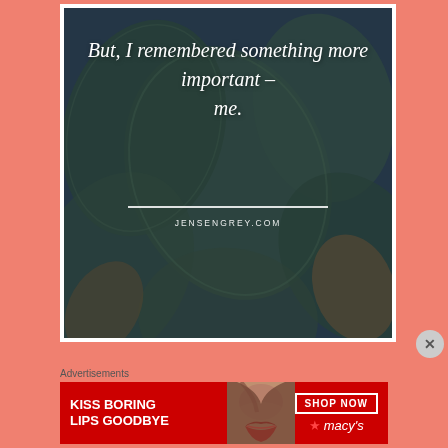[Figure (photo): Quote image over succulent plant background. White italic text reads: 'But, I remembered something more important – me.' with a white horizontal divider line and 'JENSENGREY.COM' text below.]
Advertisements
[Figure (photo): Macy's advertisement banner with red background, white bold text 'KISS BORING LIPS GOODBYE', a woman's face showing red lips, 'SHOP NOW' button, and Macy's star logo.]